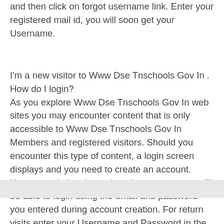and then click on forgot username link. Enter your registered mail id, you will soon get your Username.
I'm a new visitor to Www Dse Tnschools Gov In . How do I login? As you explore Www Dse Tnschools Gov In web sites you may encounter content that is only accessible to Www Dse Tnschools Gov In Members and registered visitors. Should you encounter this type of content, a login screen displays and you need to create an account. Upon completing the registration process you will be able to login using the email and password you entered during account creation. For return visits enter your Username and Password in the login box.